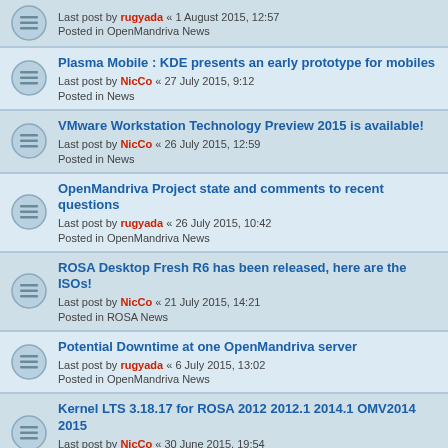Last post by rugyada « 1 August 2015, 12:57
Posted in OpenMandriva News
Plasma Mobile : KDE presents an early prototype for mobiles
Last post by NicCo « 27 July 2015, 9:12
Posted in News
VMware Workstation Technology Preview 2015 is available!
Last post by NicCo « 26 July 2015, 12:59
Posted in News
OpenMandriva Project state and comments to recent questions
Last post by rugyada « 26 July 2015, 10:42
Posted in OpenMandriva News
ROSA Desktop Fresh R6 has been released, here are the ISOs!
Last post by NicCo « 21 July 2015, 14:21
Posted in ROSA News
Potential Downtime at one OpenMandriva server
Last post by rugyada « 6 July 2015, 13:02
Posted in OpenMandriva News
Kernel LTS 3.18.17 for ROSA 2012 2012.1 2014.1 OMV2014 2015
Last post by NicCo « 30 June 2015, 19:54
Posted in Latest from packagers & testing
Kernel LTS 3.14.46 for ROSA 2012 2012.1 2014.1 OMV2013 2014
Last post by NicCo « 30 June 2015, 10:28